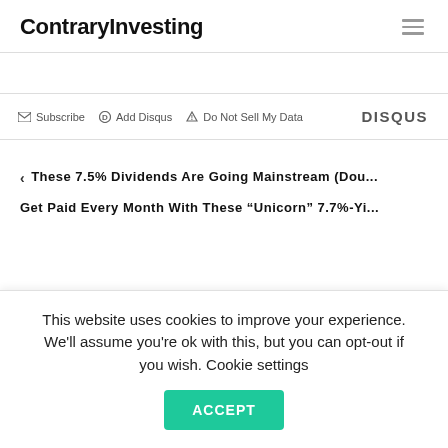ContraryInvesting
Subscribe  Add Disqus  Do Not Sell My Data  DISQUS
< These 7.5% Dividends Are Going Mainstream (Dou...
Get Paid Every Month With These “Unicorn” 7.7%-Yi...
This website uses cookies to improve your experience. We'll assume you're ok with this, but you can opt-out if you wish. Cookie settings  ACCEPT